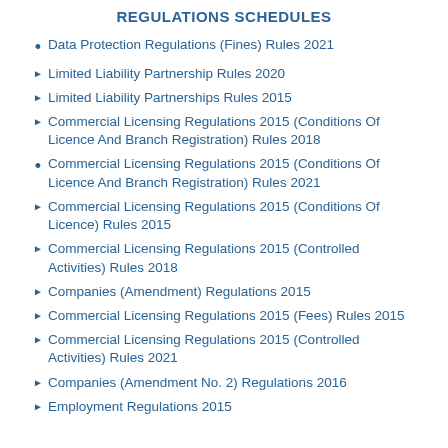REGULATIONS SCHEDULES
Data Protection Regulations (Fines) Rules 2021
Limited Liability Partnership Rules 2020
Limited Liability Partnerships Rules 2015
Commercial Licensing Regulations 2015 (Conditions Of Licence And Branch Registration) Rules 2018
Commercial Licensing Regulations 2015 (Conditions Of Licence And Branch Registration) Rules 2021
Commercial Licensing Regulations 2015 (Conditions Of Licence) Rules 2015
Commercial Licensing Regulations 2015 (Controlled Activities) Rules 2018
Companies (Amendment) Regulations 2015
Commercial Licensing Regulations 2015 (Fees) Rules 2015
Commercial Licensing Regulations 2015 (Controlled Activities) Rules 2021
Companies (Amendment No. 2) Regulations 2016
Employment Regulations 2015